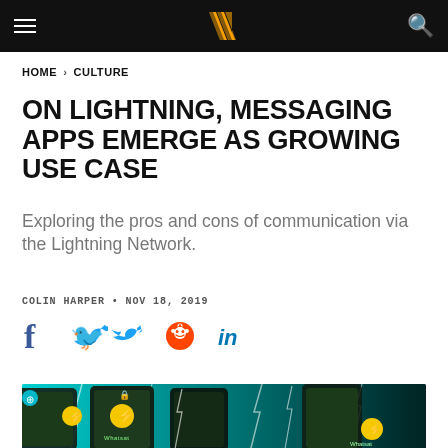Navigation bar with hamburger menu, logo, and search icon
HOME > CULTURE
ON LIGHTNING, MESSAGING APPS EMERGE AS GROWING USE CASE
Exploring the pros and cons of communication via the Lightning Network.
COLIN HARPER • NOV 18, 2019
[Figure (infographic): Social share icons: Facebook, Twitter, Reddit, LinkedIn]
[Figure (photo): Hero image showing smartphones with Whatsat lightning messaging app interface, green lightning bolt graphics on teal background]